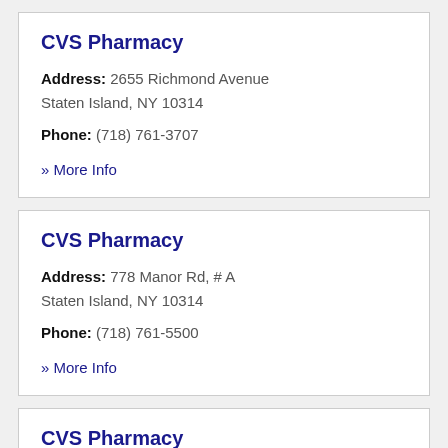CVS Pharmacy
Address: 2655 Richmond Avenue
Staten Island, NY 10314
Phone: (718) 761-3707
» More Info
CVS Pharmacy
Address: 778 Manor Rd, # A
Staten Island, NY 10314
Phone: (718) 761-5500
» More Info
CVS Pharmacy